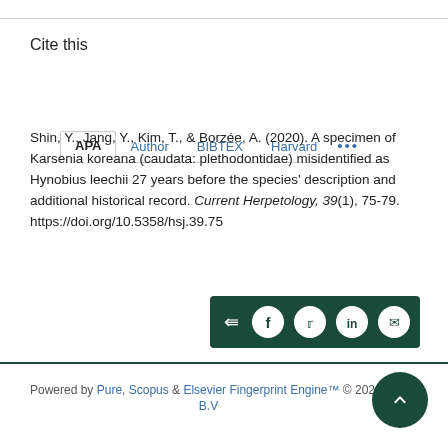Cite this
APA  Author  BIBTEX  Harvard  ...
Shin, Y., Jang, Y., Kim, T., & Borzée, A. (2020). A specimen of Karsenia koreana (caudata: plethodontidae) misidentified as Hynobius leechii 27 years before the species' description and additional historical record. Current Herpetology, 39(1), 75-79. https://doi.org/10.5358/hsj.39.75
[Figure (other): Social sharing buttons bar with icons for share, Facebook, Twitter, LinkedIn, and email on a dark green background]
Powered by Pure, Scopus & Elsevier Fingerprint Engine™ © 2020 Elsevier B.V